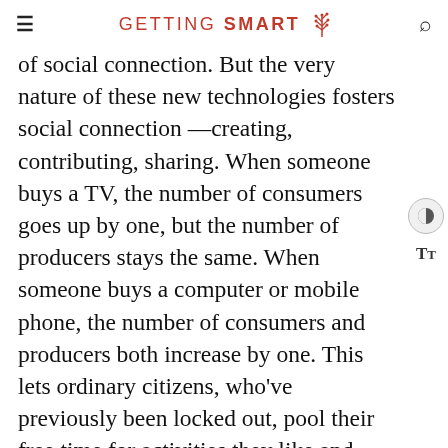GETTING SMART
of social connection. But the very nature of these new technologies fosters social connection —creating, contributing, sharing. When someone buys a TV, the number of consumers goes up by one, but the number of producers stays the same. When someone buys a computer or mobile phone, the number of consumers and producers both increase by one. This lets ordinary citizens, who've previously been locked out, pool their free time for activities they like and care about. So instead of that free time seeping away in front of the television set, the cognitive surplus is going to be poured into everything from goofy enterprises like lolcats, where people stick captions on cat photos, to